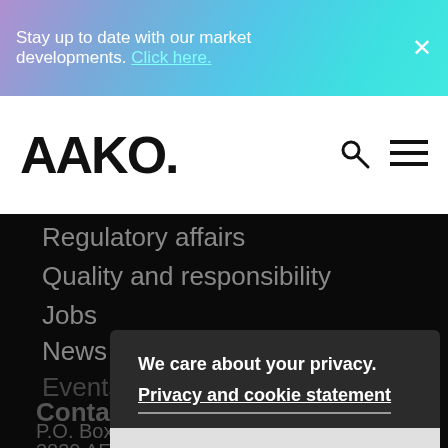Stay up to date with our market developments. Click here. ×
AAKO.
Regulatory affairs
Quality and responsibility
Jobs
News
Events
Contact
P.O. Box 205
3830 AE Leusden
We care about your privacy.
Privacy and cookie statement
OK